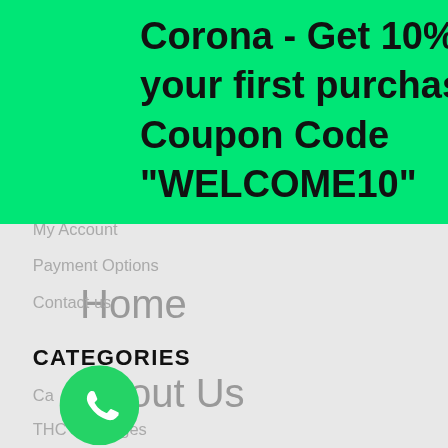Corona - Get 10% off your first purchase - Coupon Code "WELCOME10"
Home
About Us
Products
My Account
Payment Options
Contact us
CATEGORIES
Ca... Oils
THC... artridges
Hybrid Strains
Ind... ns
Marijuana Vape Pens & Cartridges
Va...
Ma... Woods
Marij... Wax
[Figure (logo): WhatsApp green circle icon]
[Figure (logo): Telegram blue circle icon]
[Figure (logo): Purple close/X button]
English
[Figure (logo): Green chat support circle button bottom right]